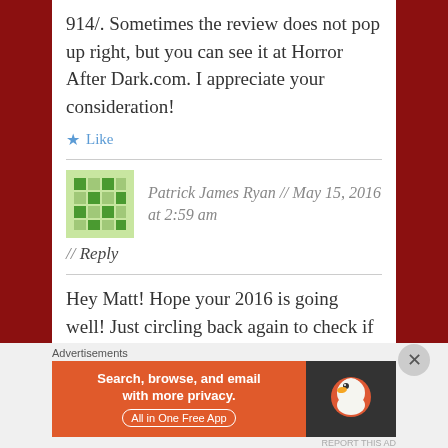914/. Sometimes the review does not pop up right, but you can see it at Horror After Dark.com. I appreciate your consideration!
Like
Patrick James Ryan // May 15, 2016 at 2:59 am
// Reply
Hey Matt! Hope your 2016 is going well! Just circling back again to check if their has been interest in reviewing “The Night It
[Figure (other): DuckDuckGo advertisement banner: orange left side reading 'Search, browse, and email with more privacy. All in One Free App', dark right side with DuckDuckGo logo duck icon.]